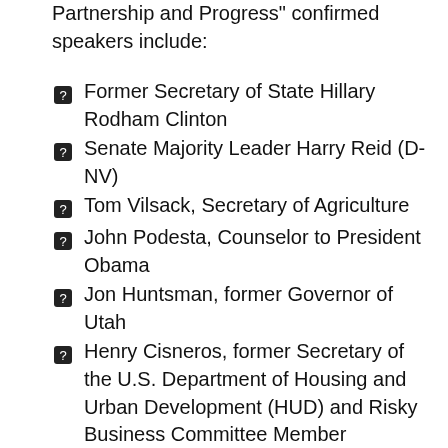Partnership and Progress" confirmed speakers include:
Former Secretary of State Hillary Rodham Clinton
Senate Majority Leader Harry Reid (D-NV)
Tom Vilsack, Secretary of Agriculture
John Podesta, Counselor to President Obama
Jon Huntsman, former Governor of Utah
Henry Cisneros, former Secretary of the U.S. Department of Housing and Urban Development (HUD) and Risky Business Committee Member
Jim Murren, MGM Resorts International
Neera Tanden, President, Center for American Progress
Rose McKinney-James, Clean Energy Project